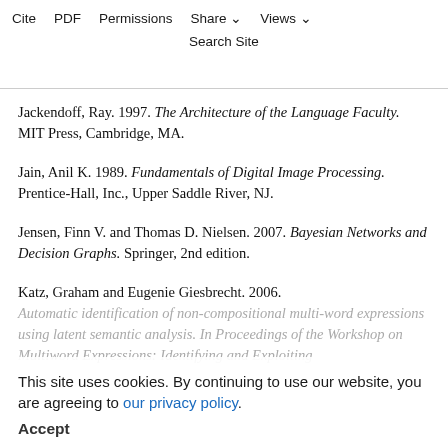Jackendoff, Ray. 1997. The Architecture of the Language Faculty. MIT Press, Cambridge, MA.
Jain, Anil K. 1989. Fundamentals of Digital Image Processing. Prentice-Hall, Inc., Upper Saddle River, NJ.
Jensen, Finn V. and Thomas D. Nielsen. 2007. Bayesian Networks and Decision Graphs. Springer, 2nd edition.
Katz, Graham and Eugenie Giesbrecht. 2006. Automatic identification of non-compositional multi-word expressions using latent semantic analysis. In Proceedings of the Workshop on Multiword Expressions: Identifying and Exploiting
This site uses cookies. By continuing to use our website, you are agreeing to our privacy policy. Accept